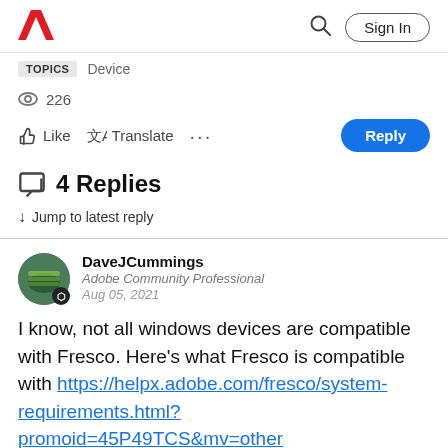Adobe logo, Search, Sign In
TOPICS   Device
226 views
Like   Translate   ...   Reply
4 Replies
↓ Jump to latest reply
DaveJCummings
Adobe Community Professional
Aug 05, 2021
I know,  not all windows devices are compatible with Fresco.  Here's what Fresco is compatible with https://helpx.adobe.com/fresco/system-requirements.html?promoid=45P49TCS&mv=other